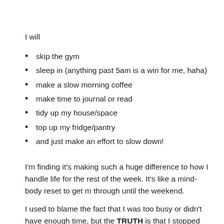I will
skip the gym
sleep in (anything past 5am is a win for me, haha)
make a slow morning coffee
make time to journal or read
tidy up my house/space
top up my fridge/pantry
and just make an effort to slow down!
I'm finding it's making such a huge difference to how I handle life for the rest of the week. It's like a mind-body reset to get m through until the weekend.
I used to blame the fact that I was too busy or didn't have enough time, but the TRUTH is that I stopped prioritising the little things that bring me the most joy in my day.